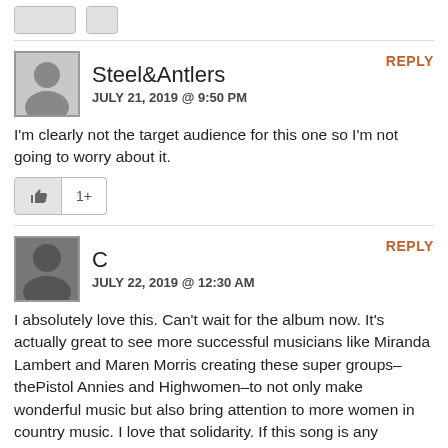Steel&Antlers
JULY 21, 2019 @ 9:50 PM
REPLY
I'm clearly not the target audience for this one so I'm not going to worry about it.
C
JULY 22, 2019 @ 12:30 AM
REPLY
I absolutely love this. Can't wait for the album now. It's actually great to see more successful musicians like Miranda Lambert and Maren Morris creating these super groups– thePistol Annies and Highwomen–to not only make wonderful music but also bring attention to more women in country music. I love that solidarity. If this song is any indication, the album is going to be phenomenal!
Craig
JULY 22, 2019 @ 6:42 AM
REPLY